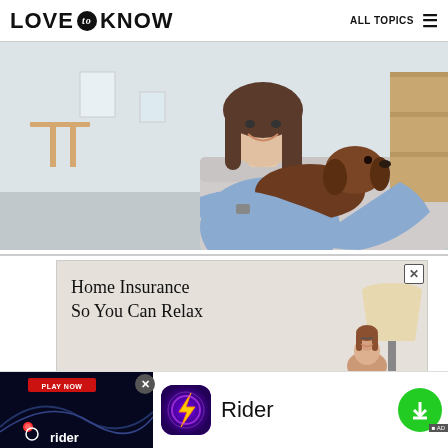LOVE to KNOW    ALL TOPICS
[Figure (photo): Woman smiling while holding a dachshund dog on a couch in a bright living room]
[Figure (photo): Home Insurance advertisement showing text 'Home Insurance So You Can Relax' with a woman and a floor lamp]
[Figure (photo): Rider mobile game advertisement at bottom with app icon, name 'Rider', Play Now button, and green download button]